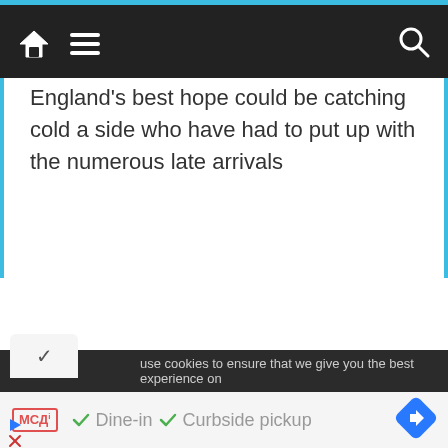Navigation bar with home, menu, and search icons
England’s best hope could be catching cold a side who have had to put up with the numerous late arrivals
use cookies to ensure that we give you the best experience on
[Figure (screenshot): Advertisement bar showing MCD logo, Dine-in and Curbside pickup checkmarks, and a blue navigation arrow diamond icon]